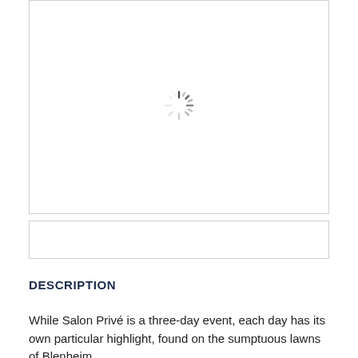[Figure (other): Image loading placeholder with spinner icon — white box with a circular loading spinner in the center]
[Figure (other): Second image loading placeholder — white box, no spinner]
DESCRIPTION
While Salon Privé is a three-day event, each day has its own particular highlight, found on the sumptuous lawns of Blenheim